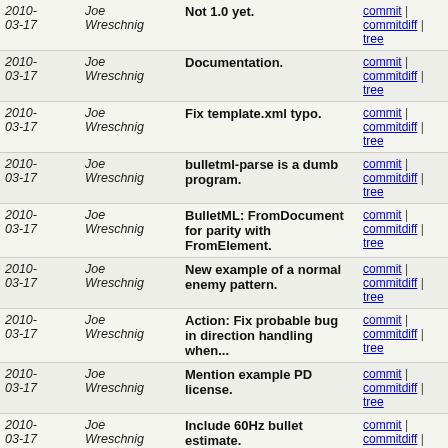| Date | Author | Commit message | Links |
| --- | --- | --- | --- |
| 2010-03-17 | Joe Wreschnig | Not 1.0 yet. | commit | commitdiff | tree |
| 2010-03-17 | Joe Wreschnig | Documentation. | commit | commitdiff | tree |
| 2010-03-17 | Joe Wreschnig | Fix template.xml typo. | commit | commitdiff | tree |
| 2010-03-17 | Joe Wreschnig | bulletml-parse is a dumb program. | commit | commitdiff | tree |
| 2010-03-17 | Joe Wreschnig | BulletML: FromDocument for parity with FromElement. | commit | commitdiff | tree |
| 2010-03-17 | Joe Wreschnig | New example of a normal enemy pattern. | commit | commitdiff | tree |
| 2010-03-17 | Joe Wreschnig | Action: Fix probable bug in direction handling when... | commit | commitdiff | tree |
| 2010-03-17 | Joe Wreschnig | Mention example PD license. | commit | commitdiff | tree |
| 2010-03-17 | Joe Wreschnig | Include 60Hz bullet estimate. | commit | commitdiff | tree |
| 2010-03-17 | Joe Wreschnig | Release preparation. | commit | commitdiff | tree |
| 2010-03-17 | Joe Wreschnig | Minor optimizations. | commit | commitdiff | tree |
| 2010-03-17 | Joe Wreschnig | Fire, relative: I'm certain the reference implementatio... | commit | commitdiff | tree |
| 2010-03-17 | Joe Wreschnig | INumberDef: Pre-int-round static values. | commit | commitdiff | tree |
| 2010-03-17 | Joe | Bullet finished: Check vanished... | commit | |